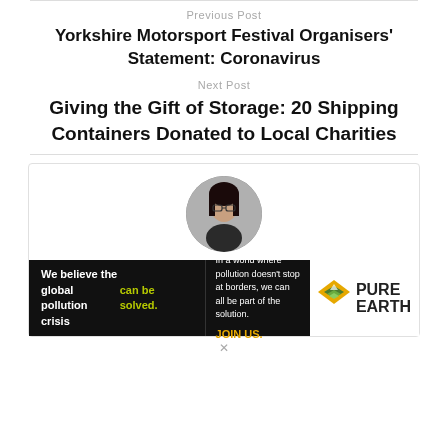Previous Post
Yorkshire Motorsport Festival Organisers' Statement: Coronavirus
Next Post
Giving the Gift of Storage: 20 Shipping Containers Donated to Local Charities
[Figure (photo): Circular author profile photo of a woman with dark hair]
[Figure (infographic): Pure Earth advertisement banner: 'We believe the global pollution crisis can be solved. In a world where pollution doesn't stop at borders, we can all be part of the solution. JOIN US.' with Pure Earth logo.]